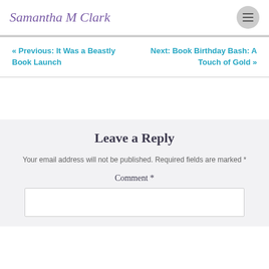Samantha M Clark
« Previous: It Was a Beastly Book Launch
Next: Book Birthday Bash: A Touch of Gold »
Leave a Reply
Your email address will not be published. Required fields are marked *
Comment *